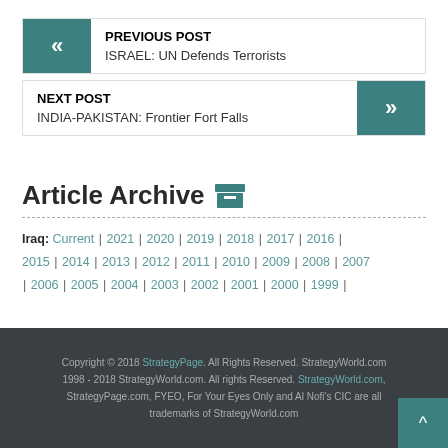PREVIOUS POST — ISRAEL: UN Defends Terrorists
NEXT POST — INDIA-PAKISTAN: Frontier Fort Falls
Article Archive
Iraq: Current | 2021 | 2020 | 2019 | 2018 | 2017 | 2016 | 2015 | 2014 | 2013 | 2012 | 2011 | 2010 | 2009 | 2008 | 2007 | 2006 | 2005 | 2004 | 2003 | 2002 | 2001 | 2000 | 1999 |
Copyright © 2018 StrategyPage. All Rights Reserved. StrategyWorld.com 1998 - 2018 StrategyWorld.com. All rights Reserved. StrategyWorld.com, StrategyPage.com, FYEO, For Your Eyes Only and Al Nofi's CIC are all trademarks of StrategyWorld.com